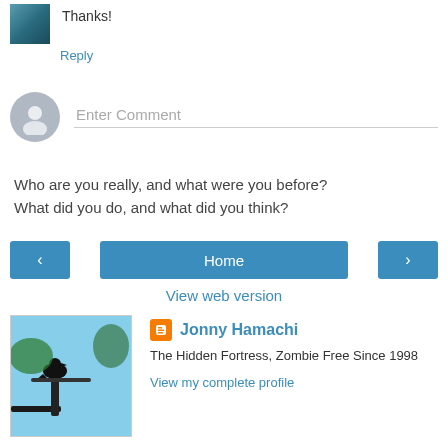Thanks!
Reply
Enter Comment
Who are you really, and what were you before?
What did you do, and what did you think?
Home
View web version
Jonny Hamachi
The Hidden Fortress, Zombie Free Since 1998
View my complete profile
Powered by Blogger.